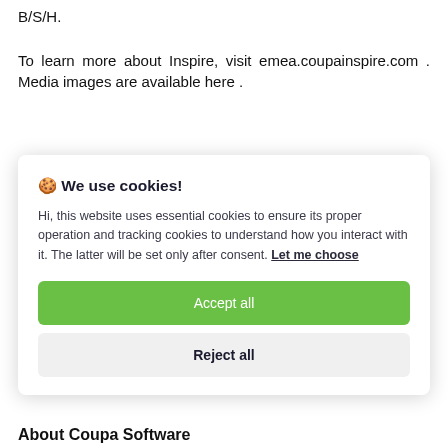B/S/H.
To learn more about Inspire, visit emea.coupainspire.com . Media images are available here .
[Figure (screenshot): Cookie consent modal overlay with title 'We use cookies!', body text about essential and tracking cookies, a green 'Accept all' button, and a gray 'Reject all' button.]
About Coupa Software